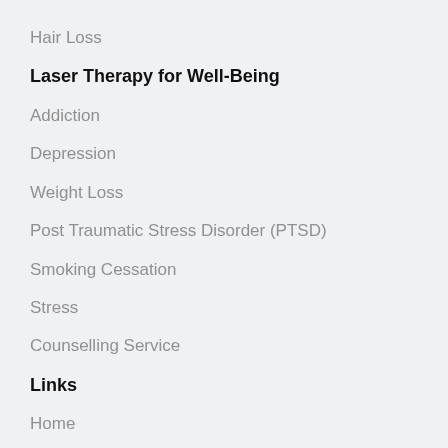Hair Loss
Laser Therapy for Well-Being
Addiction
Depression
Weight Loss
Post Traumatic Stress Disorder (PTSD)
Smoking Cessation
Stress
Counselling Service
Links
Home